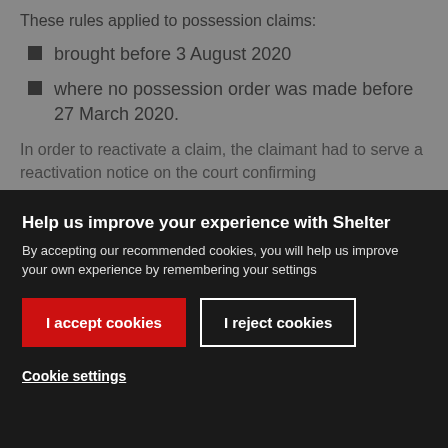These rules applied to possession claims:
brought before 3 August 2020
where no possession order was made before 27 March 2020.
In order to reactivate a claim, the claimant had to serve a reactivation notice on the court confirming
Help us improve your experience with Shelter
By accepting our recommended cookies, you will help us improve your own experience by remembering your settings
I accept cookies
I reject cookies
Cookie settings